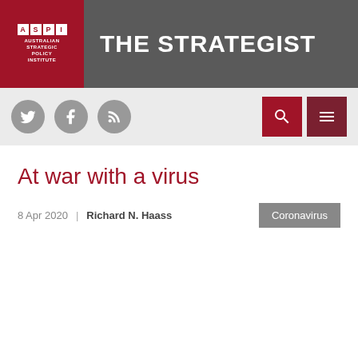THE STRATEGIST — Australian Strategic Policy Institute
At war with a virus
8 Apr 2020  |  Richard N. Haass
Coronavirus